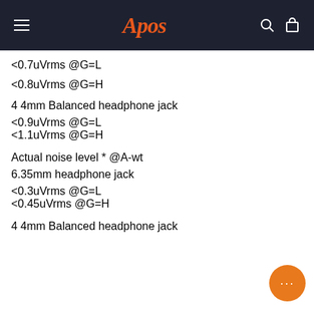Apos
<0.7uVrms @G=L
<0.8uVrms @G=H
4 4mm Balanced headphone jack
<0.9uVrms @G=L
<1.1uVrms @G=H
Actual noise level * @A-wt
6.35mm headphone jack
<0.3uVrms @G=L
<0.45uVrms @G=H
4 4mm Balanced headphone jack